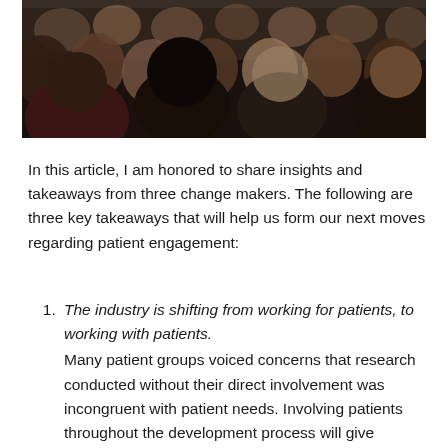[Figure (photo): Photo of a crowd of people seated at what appears to be a conference or event, viewed from a slightly elevated angle. People are dressed business casual.]
In this article, I am honored to share insights and takeaways from three change makers. The following are three key takeaways that will help us form our next moves regarding patient engagement:
The industry is shifting from working for patients, to working with patients. Many patient groups voiced concerns that research conducted without their direct involvement was incongruent with patient needs. Involving patients throughout the development process will give profound insights into how the disease is understood. John Linnell, a COPD patient and director of the US